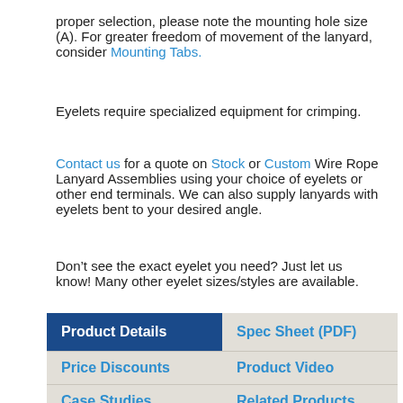proper selection, please note the mounting hole size (A). For greater freedom of movement of the lanyard, consider Mounting Tabs.
Eyelets require specialized equipment for crimping.
Contact us for a quote on Stock or Custom Wire Rope Lanyard Assemblies using your choice of eyelets or other end terminals. We can also supply lanyards with eyelets bent to your desired angle.
Don't see the exact eyelet you need? Just let us know! Many other eyelet sizes/styles are available.
| Product Details | Spec Sheet (PDF) |
| --- | --- |
| Price Discounts | Product Video |
| Case Studies | Related Products |
| Custom Solutions |  |